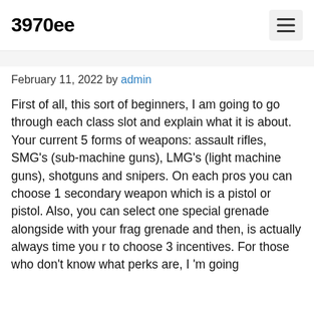3970ee
February 11, 2022 by admin
First of all, this sort of beginners, I am going to go through each class slot and explain what it is about. Your current 5 forms of weapons: assault rifles, SMG’s (sub-machine guns), LMG’s (light machine guns), shotguns and snipers. On each pros you can choose 1 secondary weapon which is a pistol or pistol. Also, you can select one special grenade alongside with your frag grenade and then, is actually always time you r to choose 3 incentives. For those who don’t know what perks are, I ’m going to a brief brief description. But...